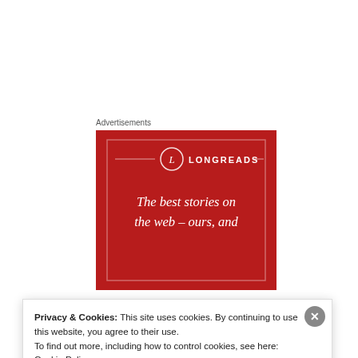Advertisements
[Figure (illustration): Longreads advertisement on a red background with circular logo containing letter L, brand name LONGREADS, decorative horizontal lines, and italic serif text reading 'The best stories on the web – ours, and']
The wrinkle in this planned C-section, though, was that
Privacy & Cookies: This site uses cookies. By continuing to use this website, you agree to their use.
To find out more, including how to control cookies, see here: Cookie Policy
Close and accept